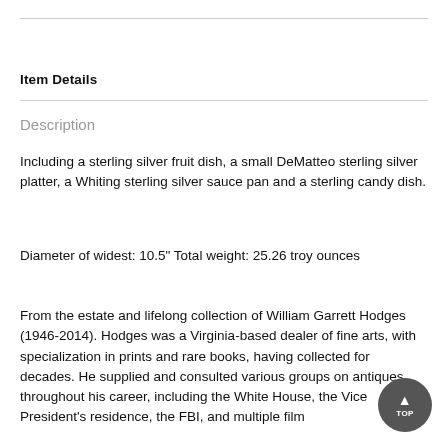Item Details
Description
Including a sterling silver fruit dish, a small DeMatteo sterling silver platter, a Whiting sterling silver sauce pan and a sterling candy dish.
Diameter of widest: 10.5" Total weight: 25.26 troy ounces
From the estate and lifelong collection of William Garrett Hodges (1946-2014). Hodges was a Virginia-based dealer of fine arts, with specialization in prints and rare books, having collected for decades. He supplied and consulted various groups on antiques throughout his career, including the White House, the Vice President's residence, the FBI, and multiple film